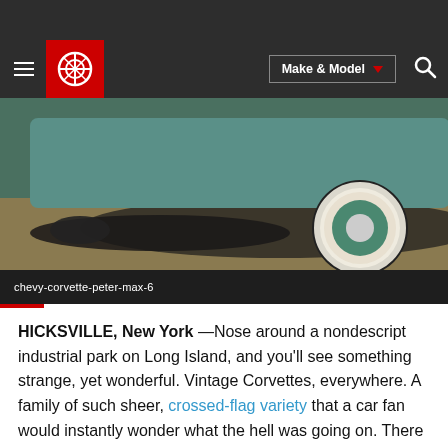Make & Model
[Figure (photo): Close-up photo of a vintage Corvette's whitewall tire and undercarriage in a garage setting, teal/green car body visible]
chevy-corvette-peter-max-6
HICKSVILLE, New York —Nose around a nondescript industrial park on Long Island, and you'll see something strange, yet wonderful. Vintage Corvettes, everywhere. A family of such sheer, crossed-flag variety that a car fan would instantly wonder what the hell was going on. There are Coke-bottle-shaped third- generation cars, that so brightened the golden age of muscle in 1968, but lapsed into...